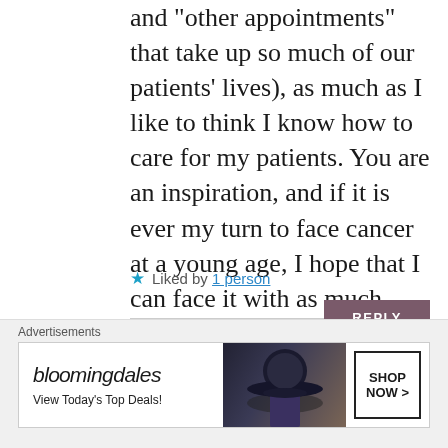and 'other appointments' that take up so much of our patients' lives), as much as I like to think I know how to care for my patients. You are an inspiration, and if it is ever my turn to face cancer at a young age, I hope that I can face it with as much fortitude as you have shown through your blog. All the best, Nicole, oncology RN
★ Liked by 1 person
REPLY
[Figure (other): Bloomingdale's advertisement banner with hat image and SHOP NOW > button]